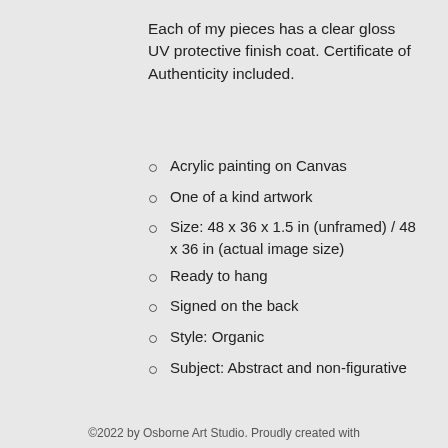Each of my pieces has a clear gloss UV protective finish coat. Certificate of Authenticity included.
Acrylic painting on Canvas
One of a kind artwork
Size: 48 x 36 x 1.5 in (unframed) / 48 x 36 in (actual image size)
Ready to hang
Signed on the back
Style: Organic
Subject: Abstract and non-figurative
©2022 by Osborne Art Studio. Proudly created with